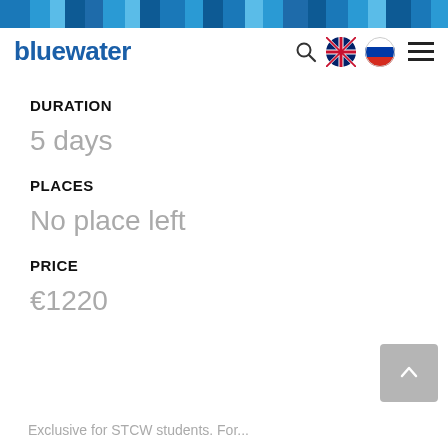[Figure (other): Bluewater website header navigation bar with logo, search icon, UK flag, Russian flag, and hamburger menu]
DURATION
5 days
PLACES
No place left
PRICE
€1220
Exclusive for STCW students. For...